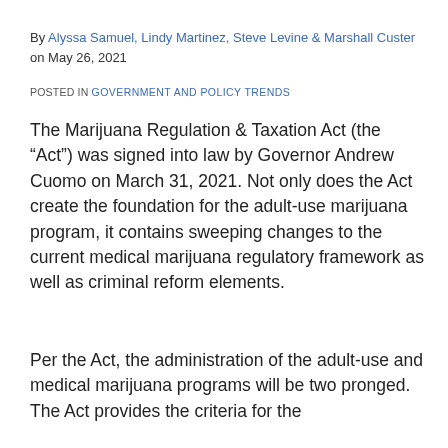By Alyssa Samuel, Lindy Martinez, Steve Levine & Marshall Custer on May 26, 2021
POSTED IN GOVERNMENT AND POLICY TRENDS
The Marijuana Regulation & Taxation Act (the “Act”) was signed into law by Governor Andrew Cuomo on March 31, 2021. Not only does the Act create the foundation for the adult-use marijuana program, it contains sweeping changes to the current medical marijuana regulatory framework as well as criminal reform elements.
Per the Act, the administration of the adult-use and medical marijuana programs will be two pronged. The Act provides the criteria for the